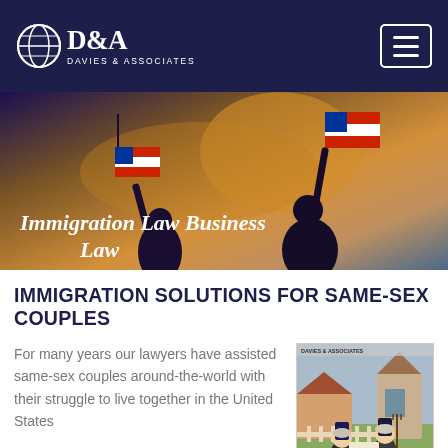Davies & Associates — Immigration Law Business Law
[Figure (photo): Hero banner image: two silhouetted figures holding American flags against a warm sunset sky with purple/blue tones. Text overlay reads 'Immigration Law Business Law' in bold italic white.]
IMMIGRATION SOLUTIONS FOR SAME-SEX COUPLES
For many years our lawyers have assisted same-sex couples around-the-world with their struggle to live together in the United States
[Figure (illustration): Cartoon illustration of two women in the style of American Gothic painting, with text overlay reading 'SAME-SEX GAY MARRIAGE']